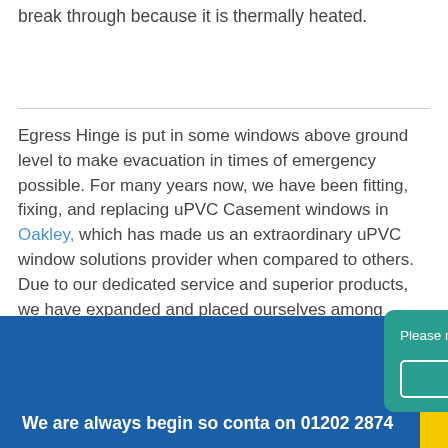break through because it is thermally heated.
Egress Hinge is put in some windows above ground level to make evacuation in times of emergency possible. For many years now, we have been fitting, fixing, and replacing uPVC Casement windows in Oakley, which has made us an extraordinary uPVC window solutions provider when compared to others. Due to our dedicated service and superior products, we have expanded and placed ourselves among Oakley's top window solutions providers.
We are always begin so conta on 01202 2874
Please read our Privacy & Cookie Policy before continuing. Click Here
Decline
Accept